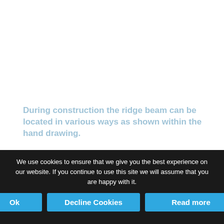During construction the ridge beam can be located in various ways as shown within the hand drawing.
We use cookies to ensure that we give you the best experience on our website. If you continue to use this site we will assume that you are happy with it.